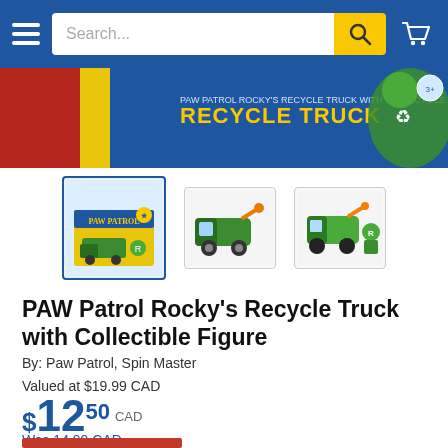Search...
[Figure (photo): PAW Patrol Rocky's Recycle Truck product box banner image showing the box top with 'RECYCLE TRUCK' text and a green dog character]
[Figure (photo): Three product thumbnail images: packaged toy box, green recycle truck toy, and recycle truck with Rocky figure]
PAW Patrol Rocky's Recycle Truck with Collectible Figure
By: Paw Patrol, Spin Master
Valued at $19.99 CAD
$12.50 CAD
Was 14.99 CAD